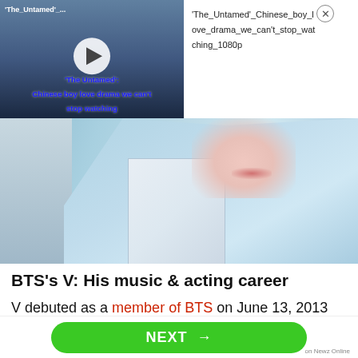[Figure (screenshot): Video thumbnail showing 'The Untamed' Chinese drama with play button overlay and blue text caption]
'The_Untamed'_Chinese_boy_love_drama_we_can't_stop_watching_1080p
[Figure (photo): Close-up photo of a young Asian man in a light blue blazer resting his chin on his hand]
BTS's V: His music & acting career
V debuted as a member of BTS on June 13, 2013 when he was 17 years old. He was the sixth
NEXT →